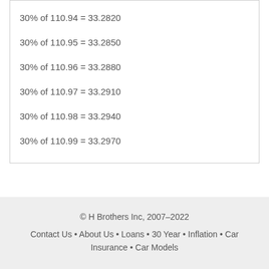30% of 110.94 = 33.2820
30% of 110.95 = 33.2850
30% of 110.96 = 33.2880
30% of 110.97 = 33.2910
30% of 110.98 = 33.2940
30% of 110.99 = 33.2970
© H Brothers Inc, 2007–2022
Contact Us • About Us • Loans • 30 Year • Inflation • Car Insurance • Car Models